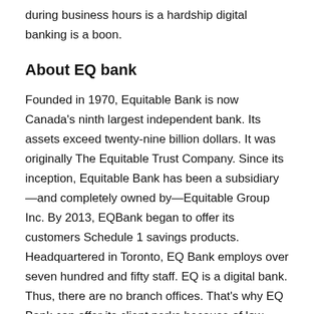during business hours is a hardship digital banking is a boon.
About EQ bank
Founded in 1970, Equitable Bank is now Canada's ninth largest independent bank. Its assets exceed twenty-nine billion dollars. It was originally The Equitable Trust Company. Since its inception, Equitable Bank has been a subsidiary—and completely owned by—Equitable Group Inc. By 2013, EQBank began to offer its customers Schedule 1 savings products. Headquartered in Toronto, EQ Bank employs over seven hundred and fifty staff. EQ is a digital bank. Thus, there are no branch offices. That's why EQ Bank can offer its client perks because of low overhead.